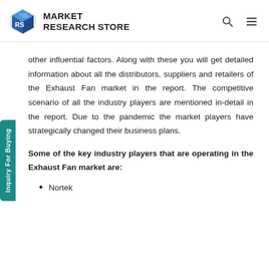MARKET RESEARCH STORE
other influential factors. Along with these you will get detailed information about all the distributors, suppliers and retailers of the Exhaust Fan market in the report. The competitive scenario of all the industry players are mentioned in-detail in the report. Due to the pandemic the market players have strategically changed their business plans.
Some of the key industry players that are operating in the Exhaust Fan market are:
Nortek